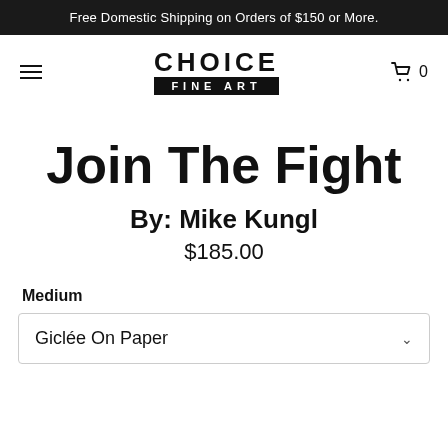Free Domestic Shipping on Orders of $150 or More.
[Figure (logo): Choice Fine Art logo with CHOICE in large bold letters above a black bar reading FINE ART]
Join The Fight
By: Mike Kungl
$185.00
Medium
Giclée On Paper